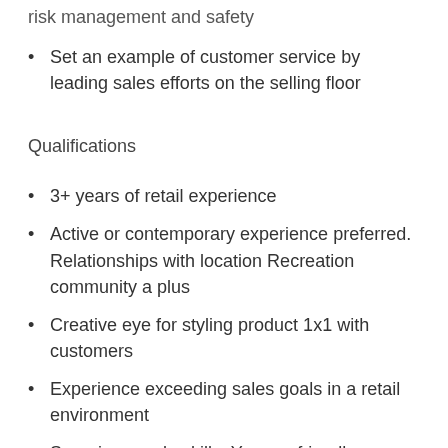risk management and safety
Set an example of customer service by leading sales efforts on the selling floor
Qualifications
3+ years of retail experience
Active or contemporary experience preferred. Relationships with location Recreation community a plus
Creative eye for styling product 1x1 with customers
Experience exceeding sales goals in a retail environment
Superior people skills: You are friendly, approachable, and